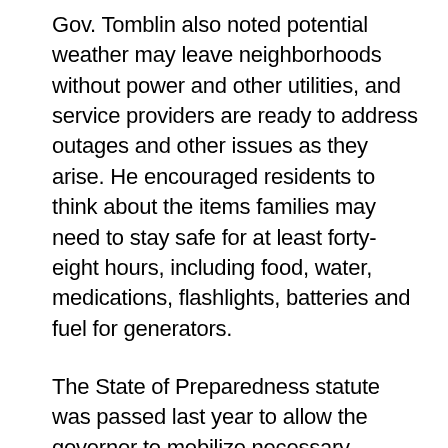Gov. Tomblin also noted potential weather may leave neighborhoods without power and other utilities, and service providers are ready to address outages and other issues as they arise. He encouraged residents to think about the items families may need to stay safe for at least forty-eight hours, including food, water, medications, flashlights, batteries and fuel for generators.
The State of Preparedness statute was passed last year to allow the governor to mobilize necessary resources in advance of predicted severe weather or large-scale threats. The powers are similar to those involved in a State of Emergency but allow for additional preparations in advance of the expected event.